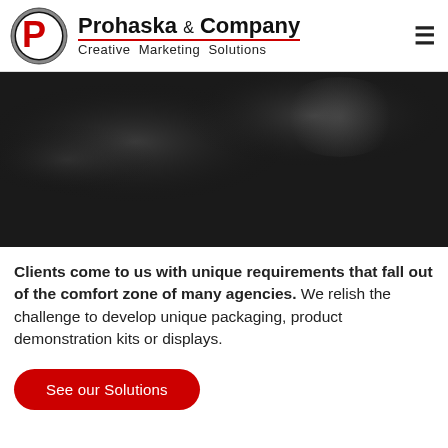[Figure (logo): Prohaska & Company logo with red P in black circle, company name and tagline 'Creative Marketing Solutions', and hamburger menu icon]
[Figure (photo): Dark moody background image, nearly black with subtle gray lighting highlights, possibly a blurred indoor scene]
Clients come to us with unique requirements that fall out of the comfort zone of many agencies. We relish the challenge to develop unique packaging, product demonstration kits or displays.
See our Solutions